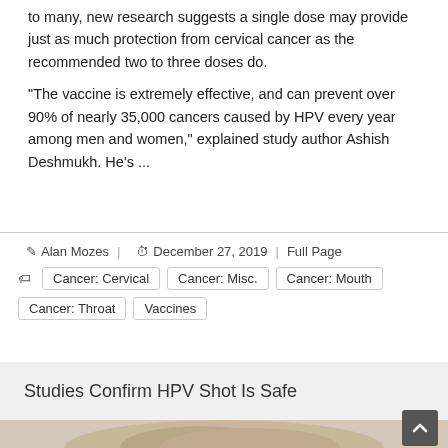to many, new research suggests a single dose may provide just as much protection from cervical cancer as the recommended two to three doses do.
"The vaccine is extremely effective, and can prevent over 90% of nearly 35,000 cancers caused by HPV every year among men and women," explained study author Ashish Deshmukh. He's ...
✎ Alan Mozes | ⏱ December 27, 2019 | Full Page
Cancer: Cervical
Cancer: Misc.
Cancer: Mouth
Cancer: Throat
Vaccines
Studies Confirm HPV Shot Is Safe
[Figure (photo): Partial photo of a person with blonde hair at the bottom of the page]